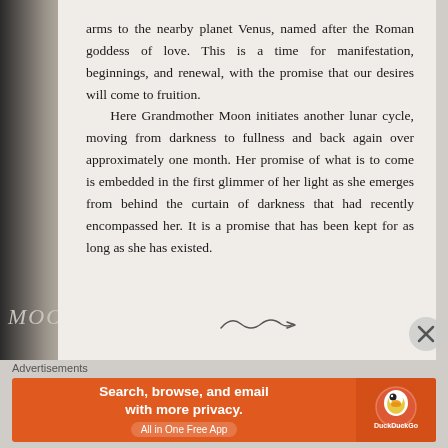[Figure (photo): Photo of an open book page showing text about Grandmother Moon and lunar cycles, with a dark image visible on the left page and a decorative swirl at the bottom of the right page.]
arms to the nearby planet Venus, named after the Roman goddess of love. This is a time for manifestation, beginnings, and renewal, with the promise that our desires will come to fruition.
    Here Grandmother Moon initiates another lunar cycle, moving from darkness to fullness and back again over approximately one month. Her promise of what is to come is embedded in the first glimmer of her light as she emerges from behind the curtain of darkness that had recently encompassed her. It is a promise that has been kept for as long as she has existed.
Advertisements
[Figure (screenshot): DuckDuckGo advertisement banner: 'Search, browse, and email with more privacy. All in One Free App' with DuckDuckGo logo on orange background.]